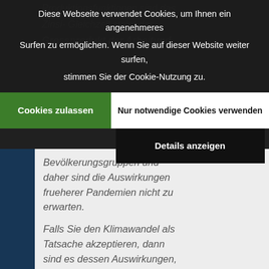Produktionsfunktionen sind das
Zinsi- Gleichzeit steigt das
Grossprodukt der Arbeitund
Diese Webseite verwendet Cookies, um Ihnen ein angenehmeres Surfen zu ermöglichen. Wenn Sie auf dieser Website weiter surfen, stimmen Sie der Cookie-Nutzung zu.
Cookies zulassen
Nur notwendige Cookies verwenden
Details anzeigen
Die ... virus insbesondere ihr arbeitende Bevölkerungsgruppen und daher sind die Auswirkungen frueherer Pandemien nicht zu erwarten.
Falls Sie den Klimawandel als Tatsache akzeptieren, dann sind es dessen Auswirkungen, die unseren Kapitalstock entwerten, nicht Politiker, die das künstlich herbeiführen. Genauso wie bei einer „echten“ Pandemie, die verheerende